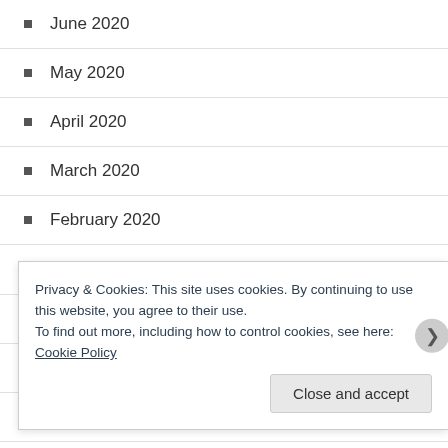June 2020
May 2020
April 2020
March 2020
February 2020
January 2020
December 2019
November 2019
October 2019
September 2019
August 2019
Privacy & Cookies: This site uses cookies. By continuing to use this website, you agree to their use.
To find out more, including how to control cookies, see here: Cookie Policy